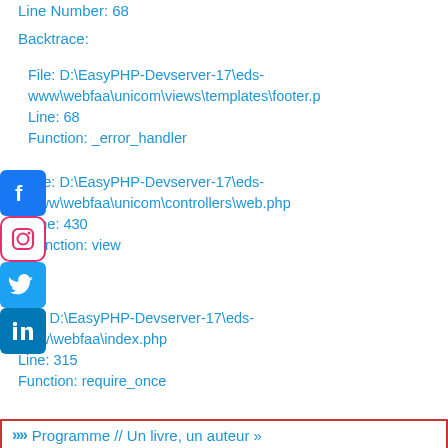Line Number: 68
Backtrace:
File: D:\EasyPHP-Devserver-17\eds-www\webfaa\unicom\views\templates\footer.p
Line: 68
Function: _error_handler
[Figure (illustration): Social media icons: Facebook, Instagram, Twitter, LinkedIn stacked vertically on the left side]
File: D:\EasyPHP-Devserver-17\eds-www\webfaa\unicom\controllers\web.php
Line: 430
Function: view
File: D:\EasyPHP-Devserver-17\eds-www\webfaa\index.php
Line: 315
Function: require_once
>>> Programme // Un livre, un auteur »